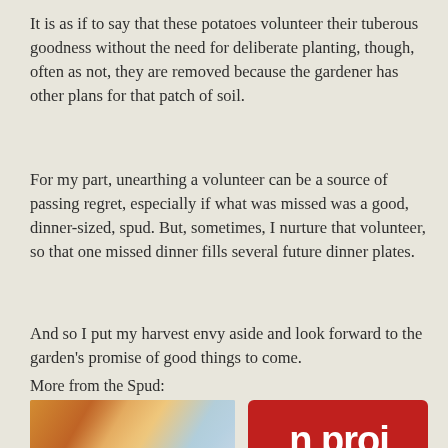It is as if to say that these potatoes volunteer their tuberous goodness without the need for deliberate planting, though, often as not, they are removed because the gardener has other plans for that patch of soil.
For my part, unearthing a volunteer can be a source of passing regret, especially if what was missed was a good, dinner-sized, spud. But, sometimes, I nurture that volunteer, so that one missed dinner fills several future dinner plates.
And so I put my harvest envy aside and look forward to the garden's promise of good things to come.
More from the Spud:
[Figure (photo): Photograph of cooked food, appears to be meat or pasta dish with sauce, partially visible]
[Figure (screenshot): Red background with large white bold text reading 'n proj' (partially visible)]